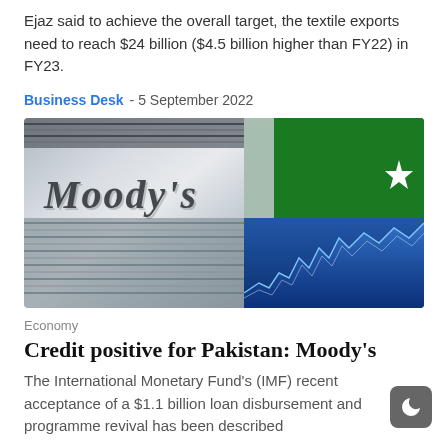Ejaz said to achieve the overall target, the textile exports need to reach $24 billion ($4.5 billion higher than FY22) in FY23.
Business Desk  - 5 September 2022
[Figure (photo): Photo of Moody's metallic signage on the left and a composite image of Pakistan flag with stock market chart overlay on the right.]
Economy
Credit positive for Pakistan: Moody's
The International Monetary Fund's (IMF) recent acceptance of a $1.1 billion loan disbursement and programme revival has been described